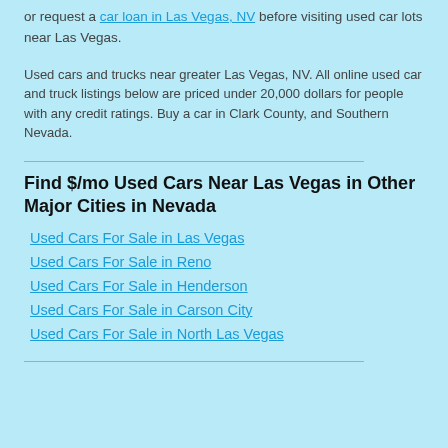or request a car loan in Las Vegas, NV before visiting used car lots near Las Vegas.
Used cars and trucks near greater Las Vegas, NV. All online used car and truck listings below are priced under 20,000 dollars for people with any credit ratings. Buy a car in Clark County, and Southern Nevada.
Find $/mo Used Cars Near Las Vegas in Other Major Cities in Nevada
Used Cars For Sale in Las Vegas
Used Cars For Sale in Reno
Used Cars For Sale in Henderson
Used Cars For Sale in Carson City
Used Cars For Sale in North Las Vegas